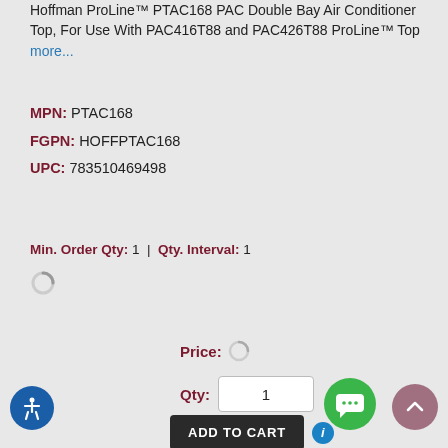Hoffman ProLine™ PTAC168 PAC Double Bay Air Conditioner Top, For Use With PAC416T88 and PAC426T88 ProLine™ Top more...
MPN: PTAC168
FGPN: HOFFPTAC168
UPC: 783510469498
Min. Order Qty: 1 | Qty. Interval: 1
Price: [loading]
Qty: 1
ADD TO CART